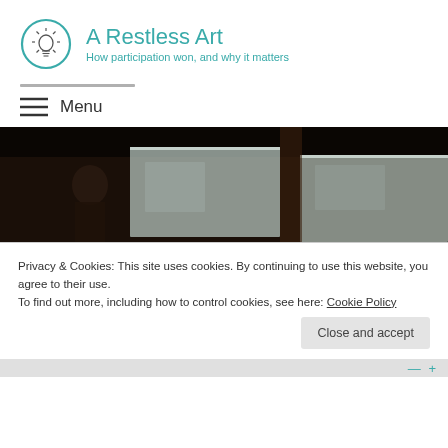A Restless Art — How participation won, and why it matters
Menu
[Figure (photo): Dark interior scene showing two frosted/translucent glass panels lit from within, against a dark background. A person is partially visible on the left side.]
Privacy & Cookies: This site uses cookies. By continuing to use this website, you agree to their use.
To find out more, including how to control cookies, see here: Cookie Policy